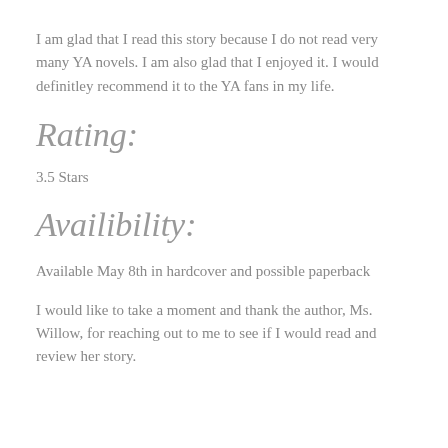I am glad that I read this story because I do not read very many YA novels. I am also glad that I enjoyed it. I would definitley recommend it to the YA fans in my life.
Rating:
3.5 Stars
Availibility:
Available May 8th in hardcover and possible paperback
I would like to take a moment and thank the author, Ms. Willow, for reaching out to me to see if I would read and review her story.